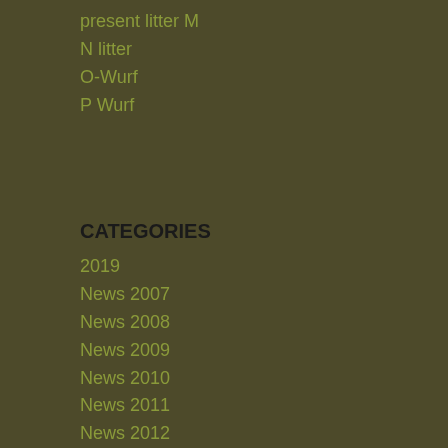present litter M
N litter
O-Wurf
P Wurf
CATEGORIES
2019
News 2007
News 2008
News 2009
News 2010
News 2011
News 2012
News 2013